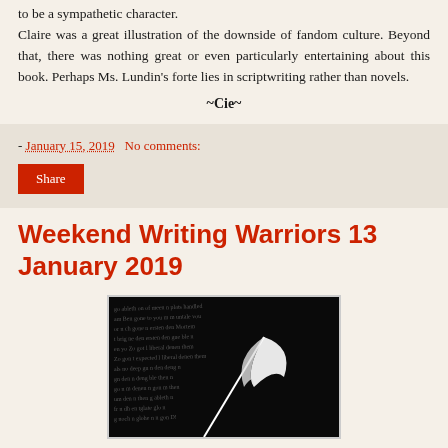to be a sympathetic character. Claire was a great illustration of the downside of fandom culture. Beyond that, there was nothing great or even particularly entertaining about this book. Perhaps Ms. Lundin's forte lies in scriptwriting rather than novels.
~Cie~
- January 15, 2019   No comments:
Share
Weekend Writing Warriors 13 January 2019
[Figure (photo): Black background image with handwritten script text and a white quill pen illustration]